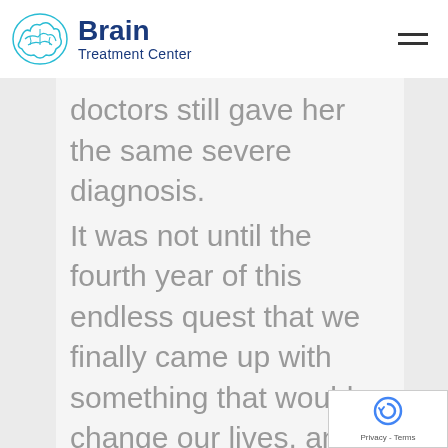Brain Treatment Center
doctors still gave her the same severe diagnosis.

It was not until the fourth year of this endless quest that we finally came up with something that would change our lives, and the life of our daughter forever. When it seemed that all alternatives were